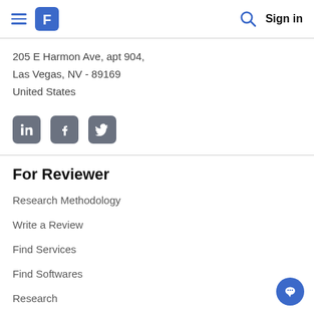Navigation bar with hamburger menu, logo, search icon, and Sign in
205 E Harmon Ave, apt 904,
Las Vegas, NV - 89169
United States
[Figure (other): Social media icons: LinkedIn, Facebook, Twitter]
For Reviewer
Research Methodology
Write a Review
Find Services
Find Softwares
Research